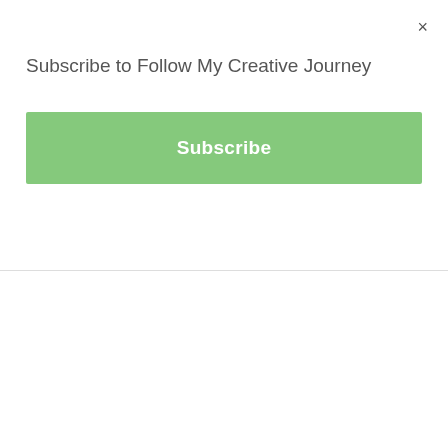×
Subscribe to Follow My Creative Journey
Subscribe